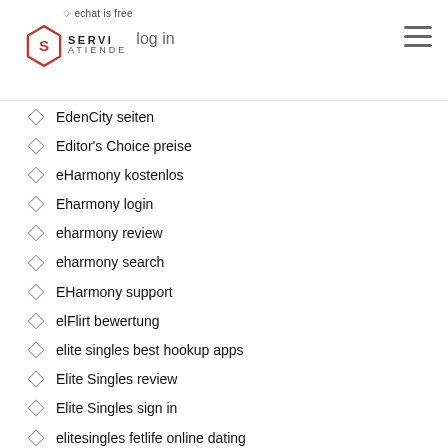echat is free log in
EdenCity seiten
Editor's Choice preise
eHarmony kostenlos
Eharmony login
eharmony review
eharmony search
EHarmony support
elFlirt bewertung
elite singles best hookup apps
Elite Singles review
Elite Singles sign in
elitesingles fetlife online dating
EliteSingles free trial
ella knox hookup hotshot
emergency loans for veterans with bad credit
emily willis hookup hotshot